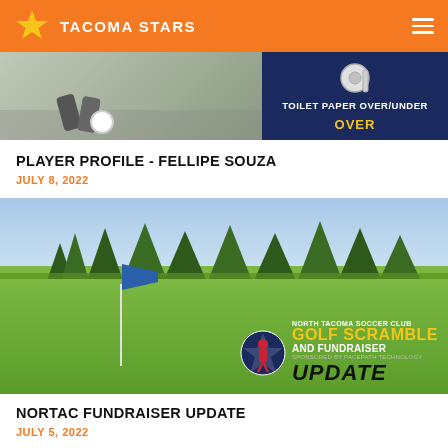TACOMA STARS
[Figure (screenshot): Banner image showing a soccer player kicking a ball on left, and a dark blue panel on right with toilet paper roll icon, text 'TOILET PAPER OVER/UNDER' and 'OVER' in yellow]
PLAYER PROFILE - FELLIPE SOUZA
JULY 8, 2022
[Figure (photo): Golf course photo showing green fairway, trees in background, blue flag on pole, and overlay logo for North Tacoma Soccer Club Golf Scramble and Fundraiser with UPDATE text]
NORTAC FUNDRAISER UPDATE
JULY 5, 2022